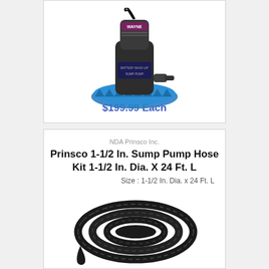[Figure (photo): Wayne brand sump pump with blue base/strainer, black body, cord on top]
$199.99 Each
NDA Prinsco Inc.
Prinsco 1-1/2 In. Sump Pump Hose Kit 1-1/2 In. Dia. X 24 Ft. L
Size : 1-1/2 In. Dia. x 24 Ft. L
[Figure (photo): Coiled black corrugated flexible sump pump hose, 1-1/2 inch diameter, 24 ft long]